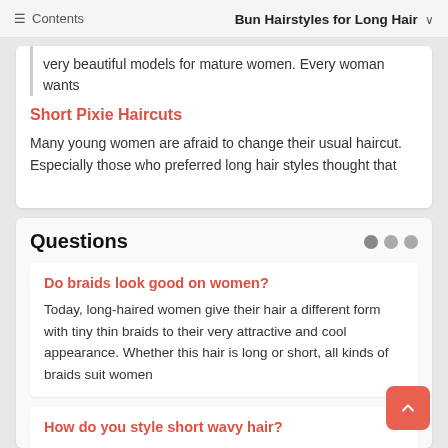☰ Contents   Bun Hairstyles for Long Hair ∨
very beautiful models for mature women. Every woman wants
Short Pixie Haircuts
Many young women are afraid to change their usual haircut. Especially those who preferred long hair styles thought that
Questions
Do braids look good on women?
Today, long-haired women give their hair a different form with tiny thin braids to their very attractive and cool appearance. Whether this hair is long or short, all kinds of braids suit women
How do you style short wavy hair?
For women, pulling their hair is one of the most time-consuming tasks and they want to apply the easiest and fastest methods to shape their hair. Short hair styles have always been easier to